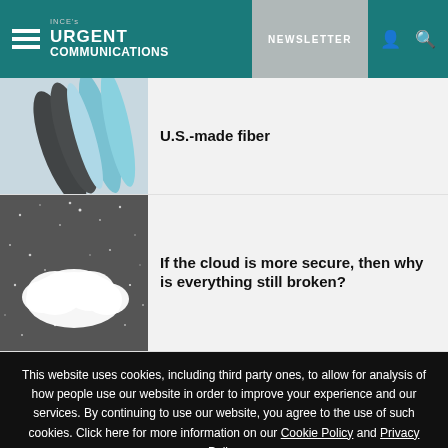INCE's URGENT COMMUNICATIONS — NEWSLETTER
U.S.-made fiber
[Figure (photo): Close-up of blue and black fiber optic cables]
If the cloud is more secure, then why is everything still broken?
[Figure (photo): Glittery dark background with white cloud shape]
This website uses cookies, including third party ones, to allow for analysis of how people use our website in order to improve your experience and our services. By continuing to use our website, you agree to the use of such cookies. Click here for more information on our Cookie Policy and Privacy Policy
Accept and Close ✕
Your browser settings do not allow cross-site tracking for advertising. Click on this page to allow AdRoll to use cross-site tracking to tailor ads to you. Learn more or opt out of this AdRoll tracking by clicking here. This message only appears once.